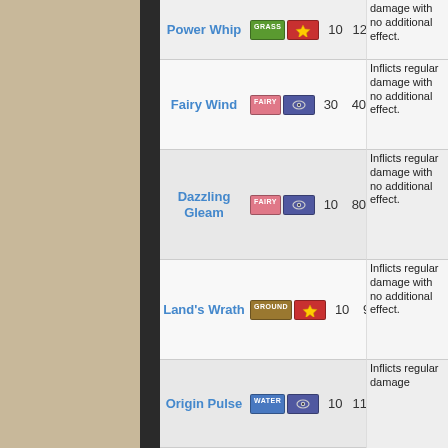| Move | Type | Category | PP | Power | Accuracy | Effect |
| --- | --- | --- | --- | --- | --- | --- |
| Power Whip | GRASS | Physical | 10 | 120 | 85% | Inflicts regular damage with no additional effect. |
| Fairy Wind | FAIRY | Special | 30 | 40 | 100% | Inflicts regular damage with no additional effect. |
| Dazzling Gleam | FAIRY | Special | 10 | 80 | 100% | Inflicts regular damage with no additional effect. |
| Land's Wrath | GROUND | Physical | 10 | 90 | 100% | Inflicts regular damage with no additional effect. |
| Origin Pulse | WATER | Special | 10 | 110 | 85% | Inflicts regular damage |